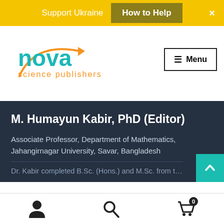Support Ukraine  How to Help  ×
[Figure (logo): Nova Science Publishers logo with orange arrow and teal 'nova' text]
≡ Menu
M. Humayun Kabir, PhD (Editor)
Associate Professor, Department of Mathematics, Jahangirnagar University, Savar, Bangladesh
Dr. Kabir completed B.Sc. (Hons.) and M.Sc. from the
User icon  Search icon  Cart (0)